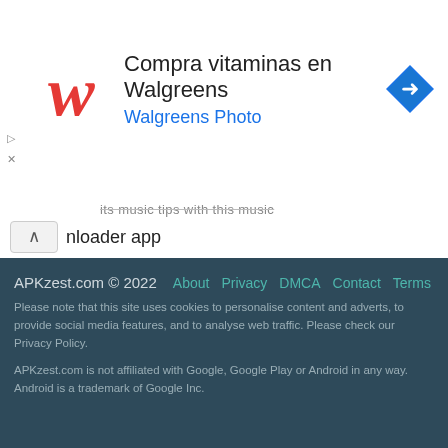[Figure (screenshot): Walgreens advertisement banner with red cursive W logo, text 'Compra vitaminas en Walgreens' and 'Walgreens Photo', and a blue diamond navigation icon on the right.]
nloader app
Music Downloader - Music Downloader: Search, download music, listen & enjoy the fun of music     550k+     4.50
APKzest.com © 2022   About   Privacy   DMCA   Contact   Terms
Please note that this site uses cookies to personalise content and adverts, to provide social media features, and to analyse web traffic. Please check our Privacy Policy.
APKzest.com is not affiliated with Google, Google Play or Android in any way. Android is a trademark of Google Inc.